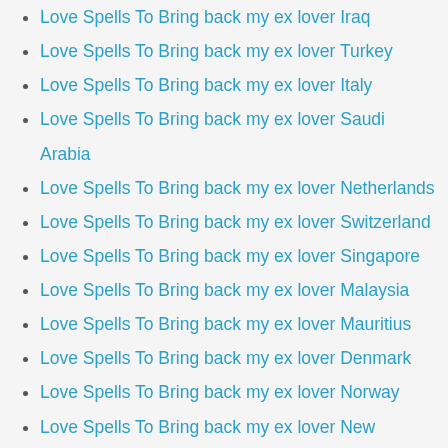Love Spells To Bring back my ex lover Iraq
Love Spells To Bring back my ex lover Turkey
Love Spells To Bring back my ex lover Italy
Love Spells To Bring back my ex lover Saudi Arabia
Love Spells To Bring back my ex lover Netherlands
Love Spells To Bring back my ex lover Switzerland
Love Spells To Bring back my ex lover Singapore
Love Spells To Bring back my ex lover Malaysia
Love Spells To Bring back my ex lover Mauritius
Love Spells To Bring back my ex lover Denmark
Love Spells To Bring back my ex lover Norway
Love Spells To Bring back my ex lover New zealand
Love Spells To Bring back my ex lover Qatar
Love Spells To Bring back my ex lover Bahrain
Love Spells To Bring back my ex lover Cyprus
Love Spells To Bring back my ex lover Sweeden
Love Spells To Bring back my ex lover Manchester
Love Spells To Bring back my ex lover Birmingham
Love Spells To Bring back my ex lover Edinburgh
Love Spells To Bring back my ex lover Bristol
Love Spells To Bring back my ex lover Liverpool
Love Spells To Bring back my ex lover Glasgow